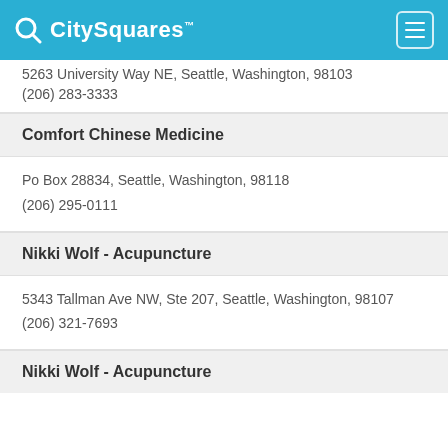CitySquares
5263 University Way NE, Seattle, Washington, 98103
(206) 283-3333
Comfort Chinese Medicine
Po Box 28834, Seattle, Washington, 98118
(206) 295-0111
Nikki Wolf - Acupuncture
5343 Tallman Ave NW, Ste 207, Seattle, Washington, 98107
(206) 321-7693
Nikki Wolf - Acupuncture